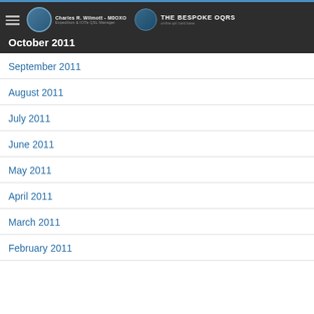Charles R. Wilmott - M0OXO | Expedition & IOTa QSL Manager | THE BESPOKE OQRS
October 2011
September 2011
August 2011
July 2011
June 2011
May 2011
April 2011
March 2011
February 2011